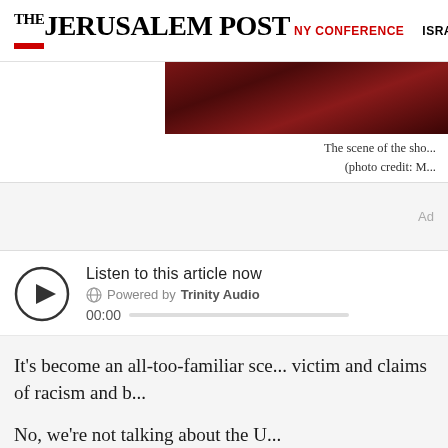THE JERUSALEM POST | NY CONFERENCE | ISRAEL
[Figure (photo): Dark reddish-brown photo strip showing a scene, partially visible, cropped at left edge]
The scene of the sho... (photo credit: M...
Ad
[Figure (other): Audio player widget: play button circle with triangle, Listen to this article now, Powered by Trinity Audio, 00:00 with progress bar]
It’s become an all-too-familiar sce... victim and claims of racism and b...
No, we’re not talking about the U...